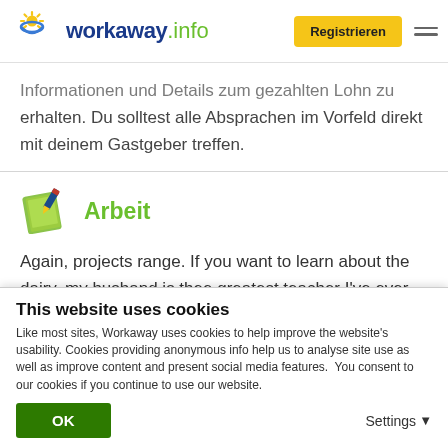[Figure (logo): workaway.info logo with sun and globe icon]
Registrieren
Informationen und Details zum gezahlten Lohn zu erhalten. Du solltest alle Absprachen im Vorfeld direkt mit deinem Gastgeber treffen.
Arbeit
Again, projects range. If you want to learn about the dairy, my husband is thee greatest teacher I've ever met. His patience and diligence are admirable, and he loves to have a sidekick in the parlor. In the winter, I usually pike silage and clean the cow house while he
This website uses cookies
Like most sites, Workaway uses cookies to help improve the website's usability. Cookies providing anonymous info help us to analyse site use as well as improve content and present social media features.  You consent to our cookies if you continue to use our website.
OK
Settings